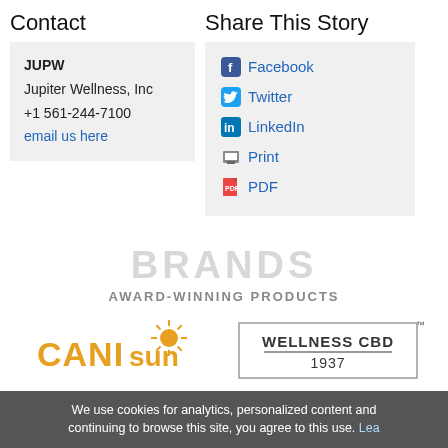Contact
JUPW
Jupiter Wellness, Inc
+1 561-244-7100
email us here
Share This Story
Facebook
Twitter
LinkedIn
Print
PDF
BRANDS
AWARD-WINNING PRODUCTS
[Figure (logo): CANIsun brand logo in orange text with sun rays]
[Figure (logo): WELLNESS CBD 1937 logo in a rectangular border]
[Figure (logo): BLACK brand logo with hammer graphic]
[Figure (logo): Sunburst/hedgehog style logo]
We use cookies for analytics, personalized content and continuing to browse this site, you agree to this use. Lea